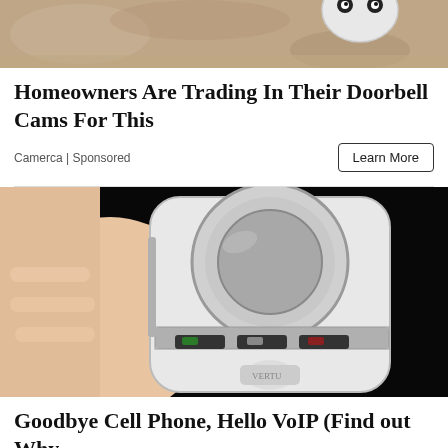[Figure (photo): Top portion of a photo showing what appears to be a dice or patterned object with panda-like markings on a sandy/rocky surface]
Homeowners Are Trading In Their Doorbell Cams For This
Camerca | Sponsored
Learn More
[Figure (photo): A hand holding a small white and silver luxury/designer flip phone against a black background. The phone has chrome accents, buttons, and appears to be a Vertu-style luxury mobile phone.]
Goodbye Cell Phone, Hello VoIP (Find out Why